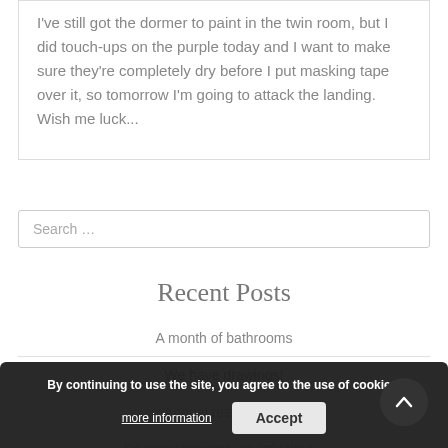I've still got the dormer to paint in the twin room, but I did touch-ups on the purple today and I want to make sure they're completely dry before I put masking tape over it, so tomorrow I'm going to attack the landing.  Wish me luck...
Search …
Recent Posts
A month of bathrooms
We have drawings!
Annual residence...
So many projects, so little time...
Project 3 is moving forward
By continuing to use the site, you agree to the use of cookies. more information Accept